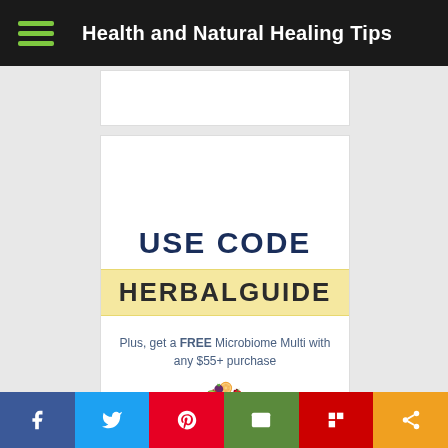Health and Natural Healing Tips
[Figure (illustration): Blank white advertisement placeholder box]
[Figure (infographic): Promotional advertisement: USE CODE HERBALGUIDE. Plus, get a FREE Microbiome Multi with any $55+ purchase. Decorative fruits including mangosteen, orange slice, cranberries, kiwi, and tomato.]
Social share bar: Facebook, Twitter, Pinterest, Email, Flipboard, Share